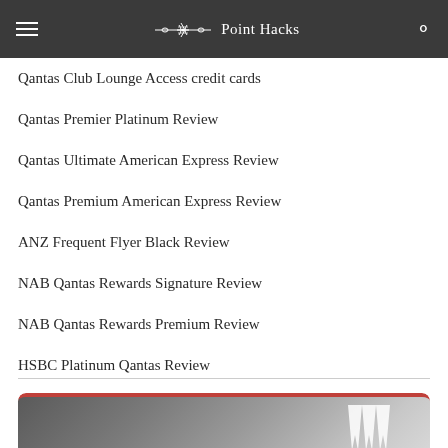Point Hacks
Qantas Club Lounge Access credit cards
Qantas Premier Platinum Review
Qantas Ultimate American Express Review
Qantas Premium American Express Review
ANZ Frequent Flyer Black Review
NAB Qantas Rewards Signature Review
NAB Qantas Rewards Premium Review
HSBC Platinum Qantas Review
[Figure (photo): Westpac credit card photo showing dark grey card with red top border and Westpac W logo]